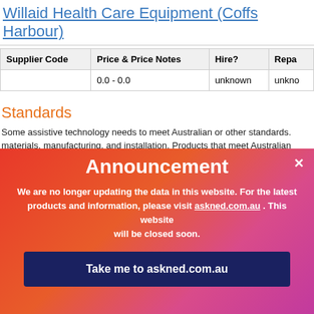Willaid Health Care Equipment (Coffs Harbour)
| Supplier Code | Price & Price Notes | Hire? | Repa... |
| --- | --- | --- | --- |
|  | 0.0 - 0.0 | unknown | unkno... |
Standards
Some assistive technology needs to meet Australian or other standards. materials, manufacturing, and installation. Products that meet Australian standards will have written certification. To find out if a product meets Aus the supplier to show you the certificate. For more information about stand http://www.ilcaustralia.org.au/Using_Assistive_Technology/standards_re...
Disclo...
[Figure (screenshot): Announcement overlay popup with gradient pink/red background. Title: 'Announcement'. Body text: 'We are no longer updating the data in this website. For the latest products and information, please visit askned.com.au . This website will be closed soon.' Button: 'Take me to askned.com.au']